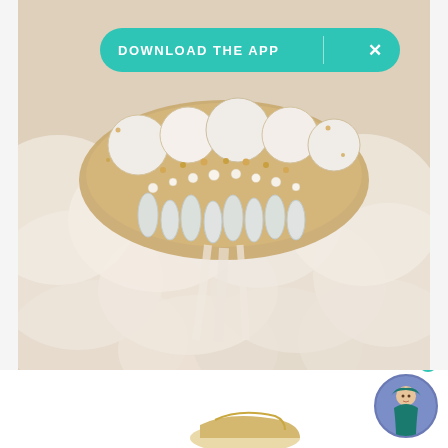[Figure (photo): Close-up photo of an ornate bridal hair accessory or crown made with crystals, pearls, beads, and white tulle/fabric ruffles arranged in layers. The piece features clear crystal drop pendants and pearl detailing on a cream/champagne background.]
DOWNLOAD THE APP
[Figure (photo): Bottom portion showing a partial view of what appears to be a gold/champagne colored shoe, and a circular avatar icon of a woman in a teal/green sari with a notification badge showing 1.]